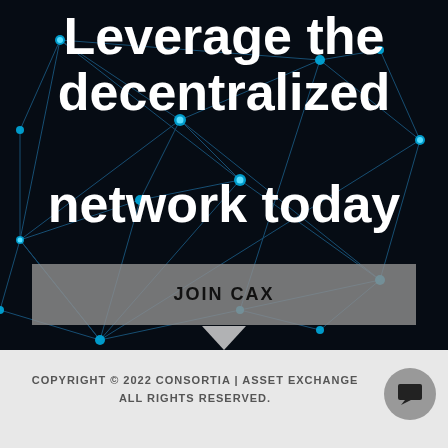[Figure (illustration): Dark background with blue glowing network nodes and connecting lines forming a decentralized network pattern]
Leverage the decentralized network today
JOIN CAX
COPYRIGHT © 2022 CONSORTIA | ASSET EXCHANGE ALL RIGHTS RESERVED.